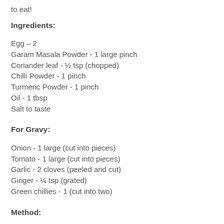to eat!
Ingredients:
Egg – 2
Garam Masala Powder - 1 large pinch
Coriander leaf - ½ tsp (chopped)
Chilli Powder - 1 pinch
Turmeric Powder - 1 pinch
Oil - 1 tbsp
Salt to taste
For Gravy:
Onion - 1 large (cut into pieces)
Tomato - 1 large (cut into pieces)
Garlic - 2 cloves (peeled and cut)
Ginger - ¼ tsp (grated)
Green chillies - 1 (cut into two)
Method: